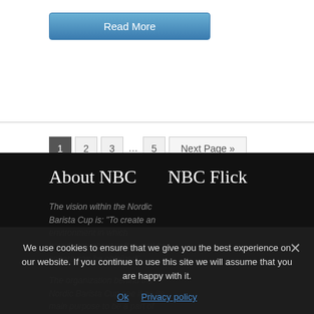[Figure (other): Read More button — blue gradient button with white text]
[Figure (other): Pagination navigation: pages 1 (active), 2, 3, ..., 5, Next Page >>]
About NBC
NBC Flick
The vision within the Nordic Barista Cup is: “To create an environment in which knowledge about coffee and its sphere can be obtained”
The organization behind the Nordic Barista Cup see it as its main purpose to be a part of creating
We use cookies to ensure that we give you the best experience on our website. If you continue to use this site we will assume that you are happy with it.
Ok   Privacy policy